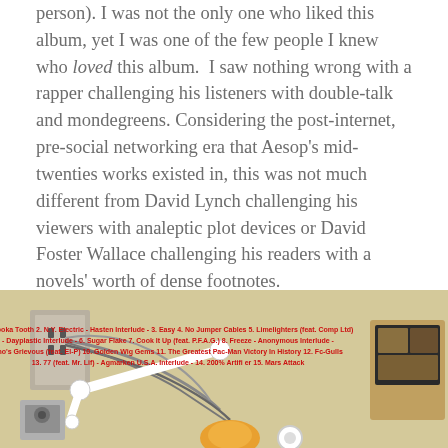person). I was not the only one who liked this album, yet I was one of the few people I knew who loved this album.  I saw nothing wrong with a rapper challenging his listeners with double-talk and mondegreens. Considering the post-internet, pre-social networking era that Aesop's mid-twenties works existed in, this was not much different from David Lynch challenging his viewers with analeptic plot devices or David Foster Wallace challenging his readers with a novels' worth of dense footnotes.
[Figure (illustration): Album cover or illustration showing a cartoon/animated scene with a room containing electronic equipment, cables plugged into a wall outlet, a robotic arm, and various devices. Red text overlay lists track names numbered 1-15.]